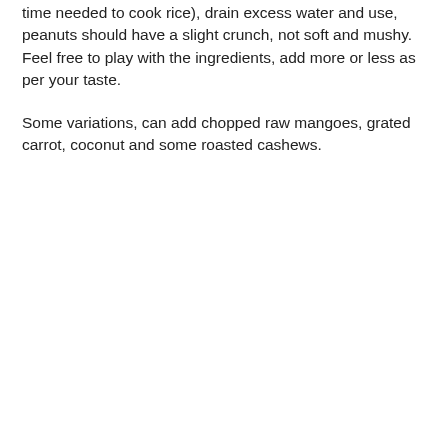time needed to cook rice), drain excess water and use, peanuts should have a slight crunch, not soft and mushy. Feel free to play with the ingredients, add more or less as per your taste.
Some variations, can add chopped raw mangoes, grated carrot, coconut and some roasted cashews.